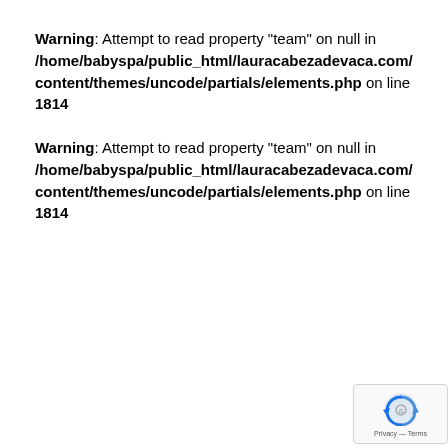Warning: Attempt to read property "team" on null in /home/babyspa/public_html/lauracabezadevaca.com/content/themes/uncode/partials/elements.php on line 1814
Warning: Attempt to read property "team" on null in /home/babyspa/public_html/lauracabezadevaca.com/content/themes/uncode/partials/elements.php on line 1814
[Figure (logo): Google reCAPTCHA badge with logo and Privacy/Terms links]